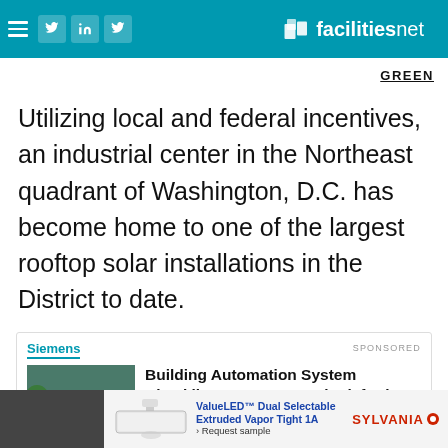facilitiesnet
GREEN
Utilizing local and federal incentives, an industrial center in the Northeast quadrant of Washington, D.C. has become home to one of the largest rooftop solar installations in the District to date.
[Figure (screenshot): Siemens sponsored advertisement card for 'Building Automation System Checklist: 5 Features to look for in a BAS' with a photo of a building and a document cover image]
[Figure (infographic): Bottom banner advertisement for Sylvania ValueLED Dual Selectable Extruded Vapor Tight 1A lighting product with request sample link]